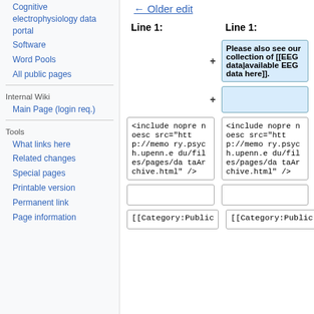Cognitive electrophysiology data portal
Software
Word Pools
All public pages
Internal Wiki
Main Page (login req.)
Tools
What links here
Related changes
Special pages
Printable version
Permanent link
Page information
← Older edit
Line 1:	Line 1:
Please also see our collection of [[EEG data|available EEG data here]].
<include nopre noesc src="http://memory.psych.upenn.edu/files/pages/dataArchive.html" />
<include nopre noesc src="http://memory.psych.upenn.edu/files/pages/dataArchive.html" />
[[Category:Public
[[Category:Public